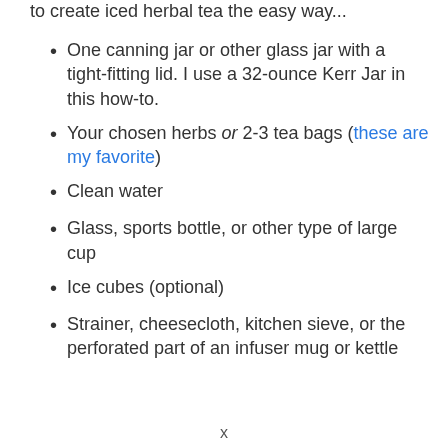to create iced herbal tea the easy way...
One canning jar or other glass jar with a tight-fitting lid. I use a 32-ounce Kerr Jar in this how-to.
Your chosen herbs or 2-3 tea bags (these are my favorite)
Clean water
Glass, sports bottle, or other type of large cup
Ice cubes (optional)
Strainer, cheesecloth, kitchen sieve, or the perforated part of an infuser mug or kettle
x